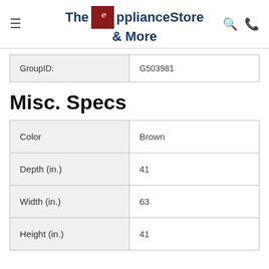The Appliance Store & More
| GroupID: | G503981 |
| --- | --- |
Misc. Specs
| Color | Brown |
| --- | --- |
| Depth (in.) | 41 |
| Width (in.) | 63 |
| Height (in.) | 41 |